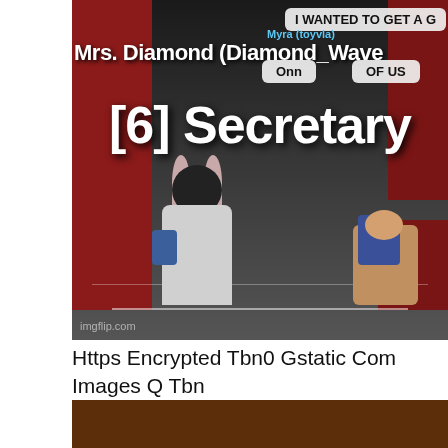[Figure (screenshot): Screenshot from the Roblox game showing characters with name tags 'Mrs. Diamond (Diamond_Wave', '[6] Secretary', speech bubbles saying 'I WANTED TO GET A G', 'Onn', 'OF US', player name 'Myra (toyvla)'. imgflip.com watermark visible.]
Https Encrypted Tbn0 Gstatic Com Images Q Tbn And9gcsylvyilkr48qobjkkondeai4zud1crwacjow Usqp Cau
[Figure (screenshot): Partial brown/dark colored image at the bottom of the page, mostly cropped.]